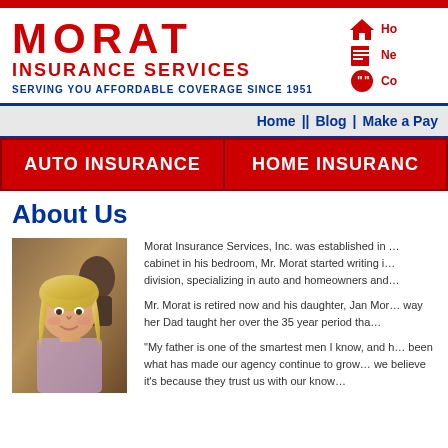MORAT INSURANCE SERVICES — SERVING YOU AFFORDABLE COVERAGE SINCE 1951
About Us
[Figure (photo): Photo of a blonde woman, Jan Morat, smiling at the camera]
Morat Insurance Services, Inc. was established in [year]. With a filing cabinet in his bedroom, Mr. Morat started writing insurance in the personal lines division, specializing in auto and homeowners and...
Mr. Morat is retired now and his daughter, Jan Mor... runs the agency the way her Dad taught her over the 35 year period tha...
"My father is one of the smartest men I know, and h... been what has made our agency continue to grow... we believe it's because they trust us with our know...